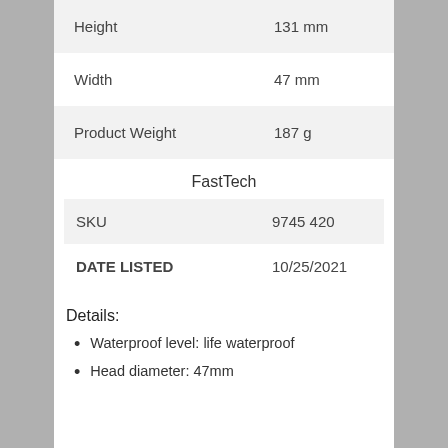| Attribute | Value |
| --- | --- |
| Height | 131 mm |
| Width | 47 mm |
| Product Weight | 187 g |
FastTech
| Attribute | Value |
| --- | --- |
| SKU | 9745420 |
| DATE LISTED | 10/25/2021 |
Details:
Waterproof level: life waterproof
Head diameter: 47mm